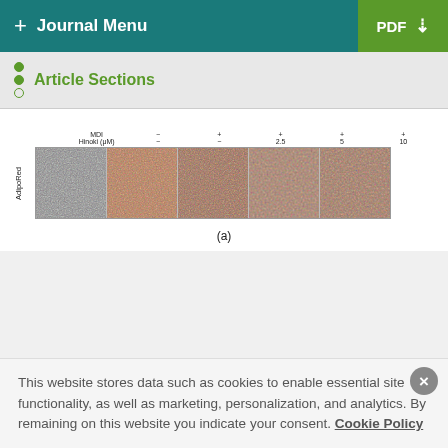+ Journal Menu | PDF ↓
Article Sections
[Figure (photo): Microscopy images arranged in a row showing 5 panels of cell staining under different conditions. Labels: MDI (−, +, +, +, +) and Hinoki (μM) (−, −, 2.5, 5, 10). Y-axis label: AdipoRed. Caption: (a)]
(a)
This website stores data such as cookies to enable essential site functionality, as well as marketing, personalization, and analytics. By remaining on this website you indicate your consent. Cookie Policy